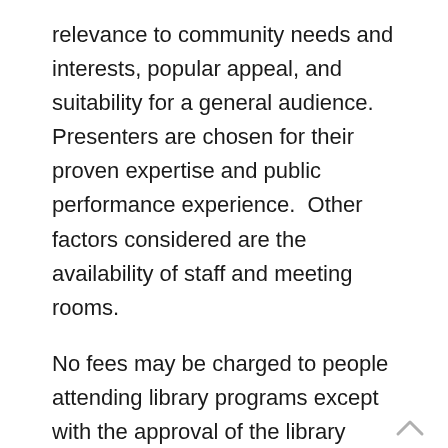relevance to community needs and interests, popular appeal, and suitability for a general audience.  Presenters are chosen for their proven expertise and public performance experience.  Other factors considered are the availability of staff and meeting rooms.
No fees may be charged to people attending library programs except with the approval of the library director.  The only items that may be sold are books and recordings by authors and musicians.  Friends of the Library or associates of the performer must handle the sale of these items.